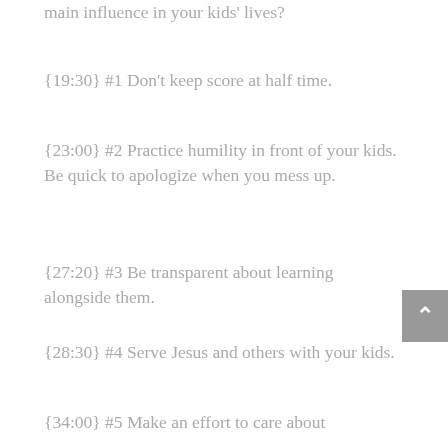main influence in your kids' lives?
{19:30} #1 Don't keep score at half time.
{23:00} #2 Practice humility in front of your kids. Be quick to apologize when you mess up.
{27:20} #3 Be transparent about learning alongside them.
{28:30} #4 Serve Jesus and others with your kids.
{34:00} #5 Make an effort to care about